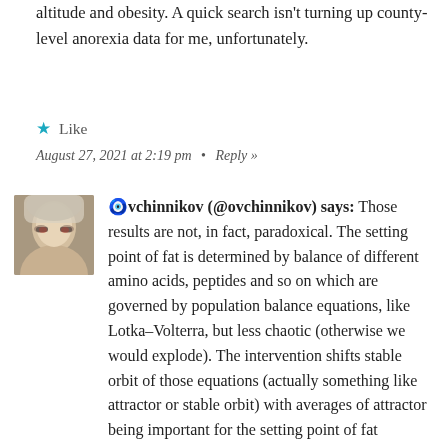altitude and obesity. A quick search isn't turning up county-level anorexia data for me, unfortunately.
★ Like
August 27, 2021 at 2:19 pm  •  Reply »
[Figure (photo): User avatar photo showing a person with light hair and glasses]
ovchinnikov (@ovchinnikov) says: Those results are not, in fact, paradoxical. The setting point of fat is determined by balance of different amino acids, peptides and so on which are governed by population balance equations, like Lotka–Volterra, but less chaotic (otherwise we would explode). The intervention shifts stable orbit of those equations (actually something like attractor or stable orbit) with averages of attractor being important for the setting point of fat